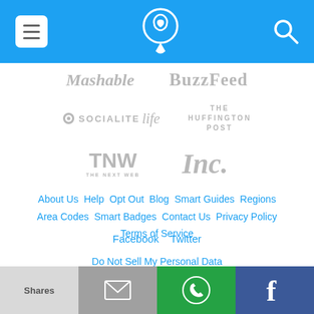Navigation bar with menu, phone/location icon, and search icon on blue background
[Figure (logo): Mashable logo in gray]
[Figure (logo): BuzzFeed logo in gray]
[Figure (logo): Socialite Life logo in gray]
[Figure (logo): The Huffington Post logo in gray]
[Figure (logo): TNW - The Next Web logo in gray]
[Figure (logo): Inc. logo in gray]
About Us  Help  Opt Out  Blog  Smart Guides  Regions  Area Codes  Smart Badges  Contact Us  Privacy Policy  Terms of Service
Facebook  Twitter
Do Not Sell My Personal Data
© 2022 Caller Smart, Inc. All rights reserved
Shares